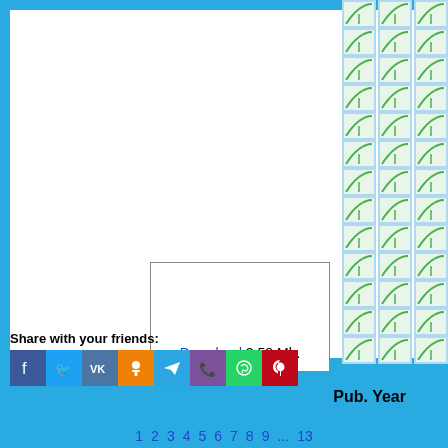[Figure (illustration): Three vertical columns of repeating leaf/page icons on the right side of the page, with 'Pub.Year' label below]
[Figure (other): Download box with border containing Download link and file size 2.58 Mb.]
Download 2.58 Mb.
Share with your friends:
[Figure (other): Social share buttons: Facebook, Twitter, VK, Odnoklassniki, Telegram, Viber, WhatsApp, Pinterest]
1 2 3 4 5 6 7 8 9 ... 13